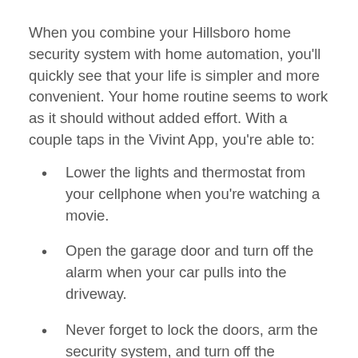When you combine your Hillsboro home security system with home automation, you'll quickly see that your life is simpler and more convenient. Your home routine seems to work as it should without added effort. With a couple taps in the Vivint App, you're able to:
Lower the lights and thermostat from your cellphone when you're watching a movie.
Open the garage door and turn off the alarm when your car pulls into the driveway.
Never forget to lock the doors, arm the security system, and turn off the downstairs lights again by setting them to a nighttime schedule.
Adjust the lights and thermostats automatically depending on the time.